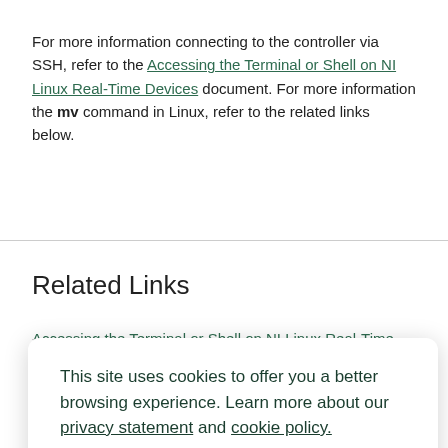For more information connecting to the controller via SSH, refer to the Accessing the Terminal or Shell on NI Linux Real-Time Devices document. For more information the mv command in Linux, refer to the related links below.
Related Links
Accessing the Terminal or Shell on NI Linux Real-Time Devices
This site uses cookies to offer you a better browsing experience. Learn more about our privacy statement and cookie policy. Yes, I accept